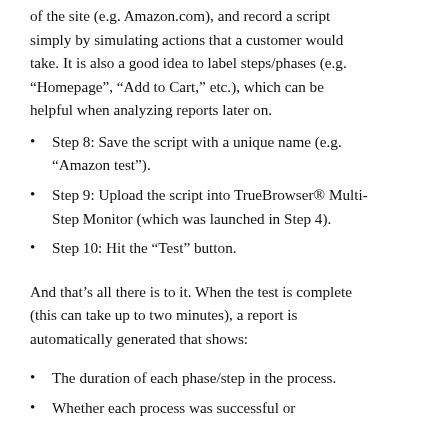of the site (e.g. Amazon.com), and record a script simply by simulating actions that a customer would take. It is also a good idea to label steps/phases (e.g. “Homepage”, “Add to Cart,” etc.), which can be helpful when analyzing reports later on.
Step 8: Save the script with a unique name (e.g. “Amazon test”).
Step 9: Upload the script into TrueBrowser® Multi-Step Monitor (which was launched in Step 4).
Step 10: Hit the “Test” button.
And that’s all there is to it. When the test is complete (this can take up to two minutes), a report is automatically generated that shows:
The duration of each phase/step in the process.
Whether each process was successful or